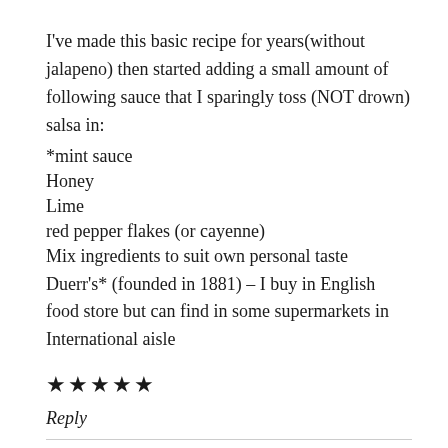I've made this basic recipe for years(without jalapeno) then started adding a small amount of following sauce that I sparingly toss (NOT drown) salsa in:
*mint sauce
Honey
Lime
red pepper flakes (or cayenne)
Mix ingredients to suit own personal taste
Duerr's* (founded in 1881) – I buy in English food store but can find in some supermarkets in International aisle
★★★★★
Reply